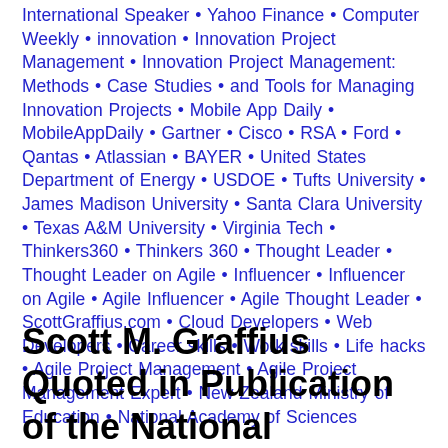International Speaker • Yahoo Finance • Computer Weekly • innovation • Innovation Project Management • Innovation Project Management: Methods • Case Studies • and Tools for Managing Innovation Projects • Mobile App Daily • MobileAppDaily • Gartner • Cisco • RSA • Ford • Qantas • Atlassian • BAYER • United States Department of Energy • USDOE • Tufts University • James Madison University • Santa Clara University • Texas A&M University • Virginia Tech • Thinkers360 • Thinkers 360 • Thought Leader • Thought Leader on Agile • Influencer • Influencer on Agile • Agile Influencer • Agile Thought Leader • ScottGraffius.com • Cloud Developers • Web Developers • Career skills • Work skills • Life hacks • Agile Project Management • Agile Project Management Expert • New Zealand Ministry of Education • National Academy of Sciences
Scott M. Graffius Quoted in Publication of the National